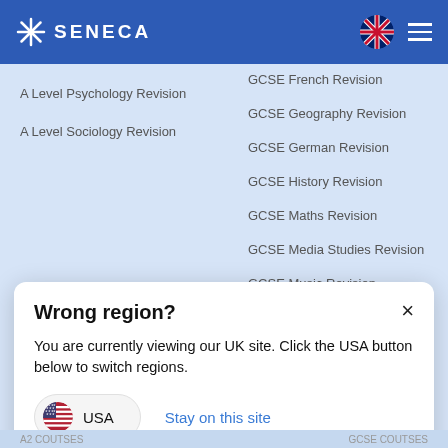SENECA
A Level Psychology Revision
A Level Sociology Revision
GCSE French Revision
GCSE Geography Revision
GCSE German Revision
GCSE History Revision
GCSE Maths Revision
GCSE Media Studies Revision
GCSE Music Revision
GCSE Physical Education Revision
Wrong region?
You are currently viewing our UK site. Click the USA button below to switch regions.
USA
Stay on this site